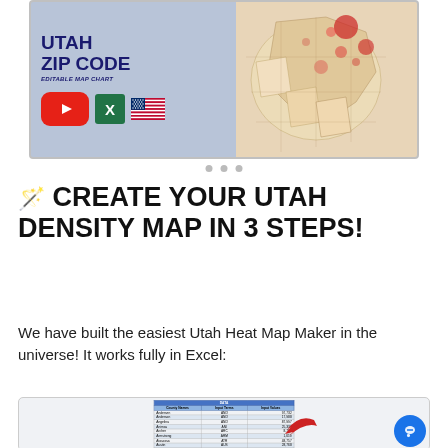[Figure (screenshot): Utah Zip Code Editable Map Chart thumbnail with YouTube play button, Excel logo, and US flag icons, alongside a choropleth map of Utah on the right side]
🪄 CREATE YOUR UTAH DENSITY MAP IN 3 STEPS!
We have built the easiest Utah Heat Map Maker in the universe! It works fully in Excel:
[Figure (screenshot): Excel spreadsheet screenshot showing a DATA table with columns: County Names, Input Terms, Input Values. Rows include Andersen, Anderson, Angelina, Animas, Archer, Armstrong, Atascosa, Austin, Bailey, Bandera with corresponding term codes and numeric values. A red arrow points to one of the rows.]